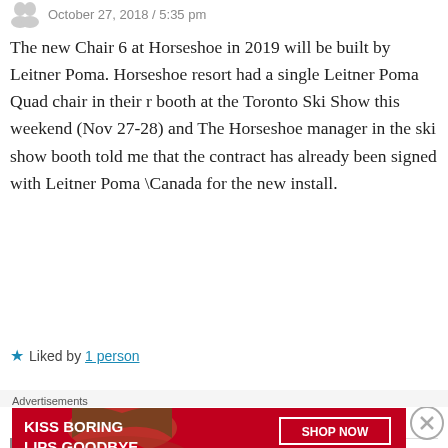October 27, 2018 / 5:35 pm
The new Chair 6 at Horseshoe in 2019 will be built by Leitner Poma. Horseshoe resort had a single Leitner Poma Quad chair in their r booth at the Toronto Ski Show this weekend (Nov 27-28) and The Horseshoe manager in the ski show booth told me that the contract has already been signed with Leitner Poma \Canada for the new install.
★ Liked by 1 person
↩ Reply
PETER LANDSMAN
October 27, 2018 / 8:00 pm
[Figure (illustration): Macy's advertisement banner: KISS BORING LIPS GOODBYE SHOP NOW with Macy's star logo, red background with woman's face.]
Advertisements